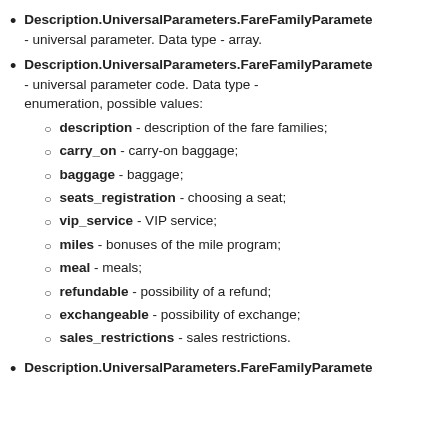Description.UniversalParameters.FareFamilyParameters - universal parameter. Data type - array.
Description.UniversalParameters.FareFamilyParameters - universal parameter code. Data type - enumeration, possible values:
description - description of the fare families;
carry_on - carry-on baggage;
baggage - baggage;
seats_registration - choosing a seat;
vip_service - VIP service;
miles - bonuses of the mile program;
meal - meals;
refundable - possibility of a refund;
exchangeable - possibility of exchange;
sales_restrictions - sales restrictions.
Description.UniversalParameters.FareFamilyParameters